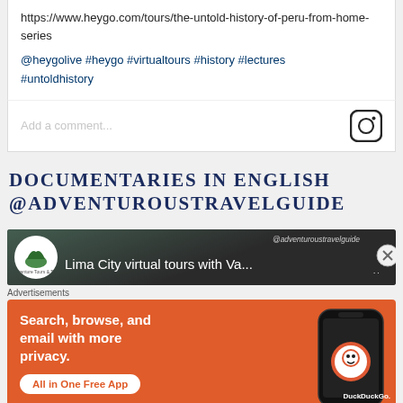https://www.heygo.com/tours/the-untold-history-of-peru-from-home-series
@heygolive #heygo #virtualtours #history #lectures #untoldhistory
Add a comment...
DOCUMENTARIES IN ENGLISH @ADVENTUROUSTRAVELGUIDE
[Figure (screenshot): YouTube/video thumbnail showing 'Lima City virtual tours with Va...' with channel icon and dark background]
Advertisements
[Figure (screenshot): DuckDuckGo advertisement banner with orange background: 'Search, browse, and email with more privacy. All in One Free App' with phone mockup showing DuckDuckGo logo]